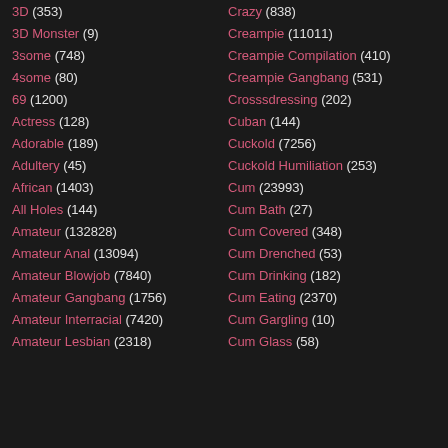3D (353)
3D Monster (9)
3some (748)
4some (80)
69 (1200)
Actress (128)
Adorable (189)
Adultery (45)
African (1403)
All Holes (144)
Amateur (132828)
Amateur Anal (13094)
Amateur Blowjob (7840)
Amateur Gangbang (1756)
Amateur Interracial (7420)
Amateur Lesbian (2318)
Crazy (838)
Creampie (11011)
Creampie Compilation (410)
Creampie Gangbang (531)
Crosssdressing (202)
Cuban (144)
Cuckold (7256)
Cuckold Humiliation (253)
Cum (23993)
Cum Bath (27)
Cum Covered (348)
Cum Drenched (53)
Cum Drinking (182)
Cum Eating (2370)
Cum Gargling (10)
Cum Glass (58)